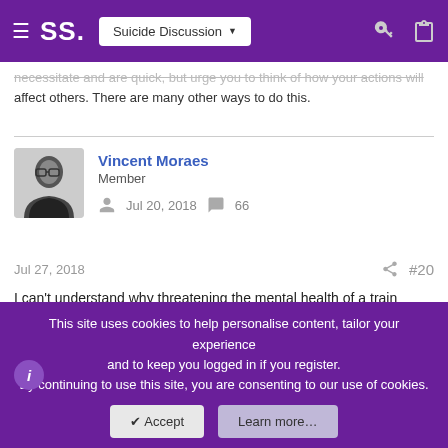SS. Suicide Discussion
necessitate and are quick, but urge you to think of how your actions will affect others. There are many other ways to do this.
Vincent Moraes
Member
Jul 20, 2018   66
Jul 27, 2018   #20
I can't understand why threatening the mental health of a train driver is supposed to be such a concern to someone who supposedly doesn't care about hurting his own family. You are fucking your mother's life for good and you still want to do it, and then you give up a method because
This site uses cookies to help personalise content, tailor your experience and to keep you logged in if you register.
By continuing to use this site, you are consenting to our use of cookies.